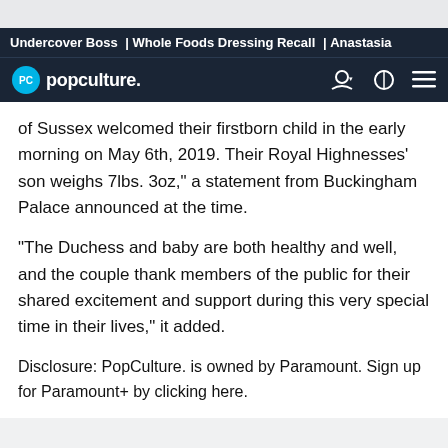Undercover Boss | Whole Foods Dressing Recall | Anastasia
[Figure (logo): PopCulture.com logo with PC circle icon and navigation icons]
of Sussex welcomed their firstborn child in the early morning on May 6th, 2019. Their Royal Highnesses' son weighs 7lbs. 3oz," a statement from Buckingham Palace announced at the time.
"The Duchess and baby are both healthy and well, and the couple thank members of the public for their shared excitement and support during this very special time in their lives," it added.
Disclosure: PopCulture. is owned by Paramount. Sign up for Paramount+ by clicking here.